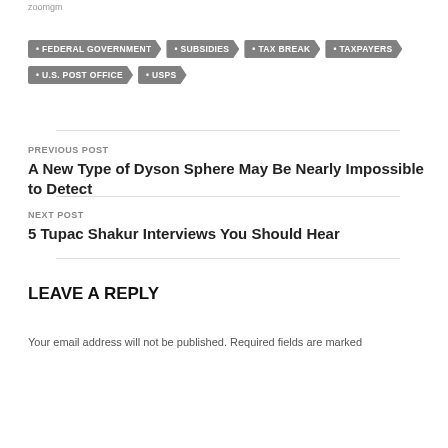zoomgm
FEDERAL GOVERNMENT
SUBSIDIES
TAX BREAK
TAXPAYERS
U.S. POST OFFICE
USPS
PREVIOUS POST
A New Type of Dyson Sphere May Be Nearly Impossible to Detect
NEXT POST
5 Tupac Shakur Interviews You Should Hear
LEAVE A REPLY
Your email address will not be published. Required fields are marked